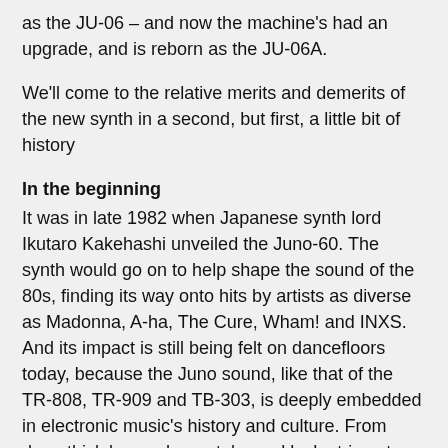as the JU-06 – and now the machine's had an upgrade, and is reborn as the JU-06A.
We'll come to the relative merits and demerits of the new synth in a second, but first, a little bit of history
In the beginning
It was in late 1982 when Japanese synth lord Ikutaro Kakehashi unveiled the Juno-60. The synth would go on to help shape the sound of the 80s, finding its way onto hits by artists as diverse as Madonna, A-ha, The Cure, Wham! and INXS. And its impact is still being felt on dancefloors today, because the Juno sound, like that of the TR-808, TR-909 and TB-303, is deeply embedded in electronic music's history and culture. From deep thick bass, sharp stabs and lush strings to attacking percussive timbres, there's little it can't cope with in the analog realm.
Back in 1982, however, there was little that anyone gave to the